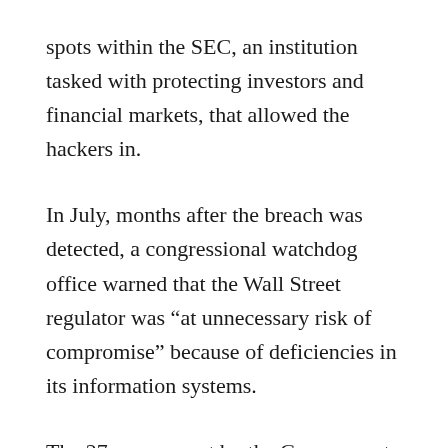spots within the SEC, an institution tasked with protecting investors and financial markets, that allowed the hackers in.
In July, months after the breach was detected, a congressional watchdog office warned that the Wall Street regulator was “at unnecessary risk of compromise” because of deficiencies in its information systems.
The 27-page report by the Government Accountability Office found the SEC did not always fully encrypt sensitive information, used unsupported software, failed to fully implement an intrusion detection system and made mistakes in how it configured its firewalls.